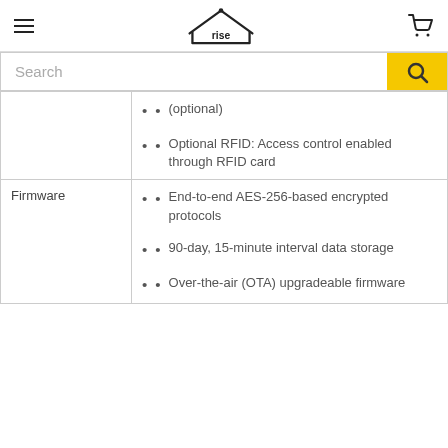rise (logo) — navigation header with hamburger menu and cart
Search (input field)
| Category | Details |
| --- | --- |
|  | (optional)
• Optional RFID: Access control enabled through RFID card |
| Firmware | • End-to-end AES-256-based encrypted protocols
• 90-day, 15-minute interval data storage
• Over-the-air (OTA) upgradeable firmware |